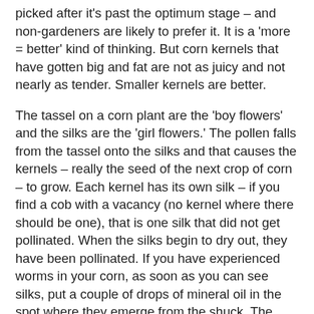picked after it's past the optimum stage – and non-gardeners are likely to prefer it. It is a 'more = better' kind of thinking. But corn kernels that have gotten big and fat are not as juicy and not nearly as tender. Smaller kernels are better.
The tassel on a corn plant are the 'boy flowers' and the silks are the 'girl flowers.' The pollen falls from the tassel onto the silks and that causes the kernels – really the seed of the next crop of corn – to grow. Each kernel has its own silk – if you find a cob with a vacancy (no kernel where there should be one), that is one silk that did not get pollinated. When the silks begin to dry out, they have been pollinated. If you have experienced worms in your corn, as soon as you can see silks, put a couple of drops of mineral oil in the spot where they emerge from the shuck. The worms will find that an impassable barrier and you'll have worm free corn! To harvest, feel the ear – it does take some training, but after a time, your tactile explorations will enable you to feel the ripe (and full ear) and leave the underdeveloped still on the plant. Grab the ear firmly and pull slightly out and down in one compelling motion and liberate it from the plant. The up and down ends will need trimming to find the actual ear in all that